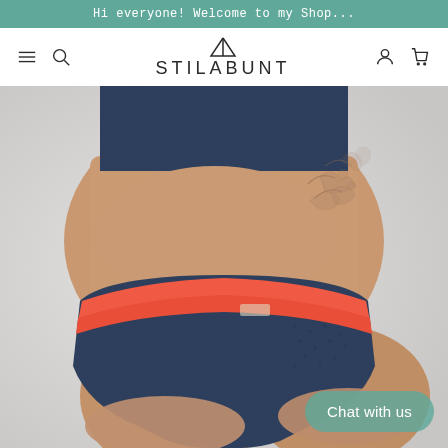Hi everyone! Welcome to my Shop...
[Figure (screenshot): E-commerce navigation bar for STILABUNT brand with hamburger menu, search, logo with triangle icon, user account and cart icons]
[Figure (photo): Close-up product photo of a model wearing navy blue high-waist bikini bottom with coral/orange elastic waistband, with floral tattoo visible on hip]
Chat with us